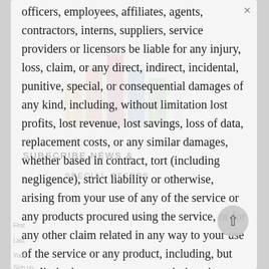officers, employees, affiliates, agents, contractors, interns, suppliers, service providers or licensors be liable for any injury, loss, claim, or any direct, indirect, incidental, punitive, special, or consequential damages of any kind, including, without limitation lost profits, lost revenue, lost savings, loss of data, replacement costs, or any similar damages, whether based in contract, tort (including negligence), strict liability or otherwise, arising from your use of any of the service or any products procured using the service, or for any other claim related in any way to your use of the service or any product, including, but not limited to, any errors or omissions in any content, or any loss or damage of any kind incurred as a result of the use of the service or any content (or product) posted, transmitted,